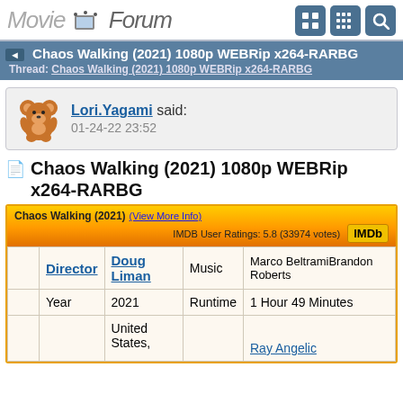MovieForum
Chaos Walking (2021) 1080p WEBRip x264-RARBG
Thread: Chaos Walking (2021) 1080p WEBRip x264-RARBG
Lori.Yagami said: 01-24-22 23:52
Chaos Walking (2021) 1080p WEBRip x264-RARBG
|  | Director |  | Music |  |
| --- | --- | --- | --- | --- |
|  | Doug Liman | Music | Marco BeltramiBrandon Roberts |
|  | Year | 2021 | Runtime | 1 Hour 49 Minutes |
|  |  | United States, |  | Ray Angelic |